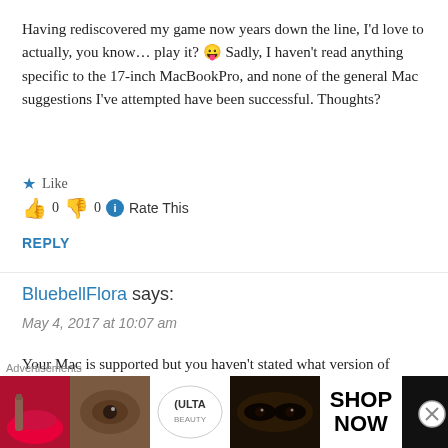Having rediscovered my game now years down the line, I'd love to actually, you know… play it? 😛 Sadly, I haven't read anything specific to the 17-inch MacBookPro, and none of the general Mac suggestions I've attempted have been successful. Thoughts?
★ Like
👍 0 👎 0 ℹ Rate This
REPLY
BluebellFlora says:
May 4, 2017 at 10:07 am
Your Mac is supported but you haven't stated what version of macOS you're running, nor whether you're trying disc or download? The 17" was the same spec. as the high end 15" just
[Figure (infographic): Ulta Beauty advertisement banner showing makeup imagery with text SHOP NOW and a close button]